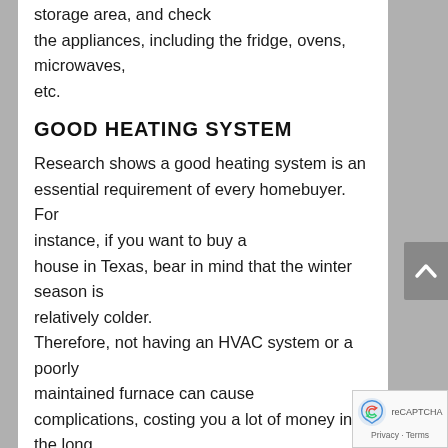storage area, and check the appliances, including the fridge, ovens, microwaves, etc.
GOOD HEATING SYSTEM
Research shows a good heating system is an essential requirement of every homebuyer. For instance, if you want to buy a house in Texas, bear in mind that the winter season is relatively colder. Therefore, not having an HVAC system or a poorly maintained furnace can cause complications, costing you a lot of money in the long run.
A properly maintained HVAC system or good heating system can reduce the risk of breakdowns, save money on repairs, and